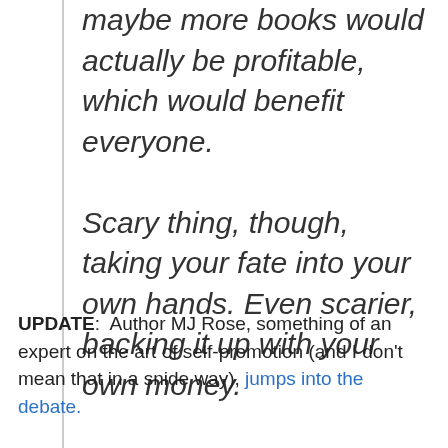maybe more books would actually be profitable, which would benefit everyone.

Scary thing, though, taking your fate into your own hands. Even scarier, backing it up with your own money.
UPDATE:  Author MJ Rose, something of an expert on the art of self-promotion (and I don't mean that in a snide way), jumps into the debate.